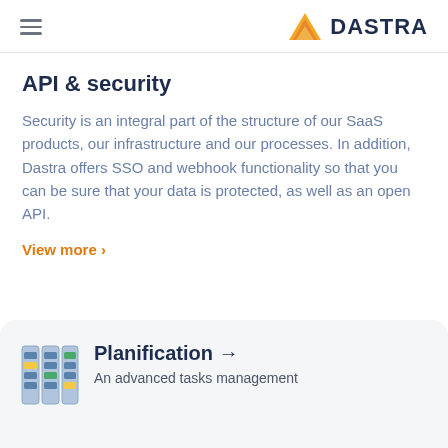DASTRA
API & security
Security is an integral part of the structure of our SaaS products, our infrastructure and our processes. In addition, Dastra offers SSO and webhook functionality so that you can be sure that your data is protected, as well as an open API.
View more >
Planification →
An advanced tasks management